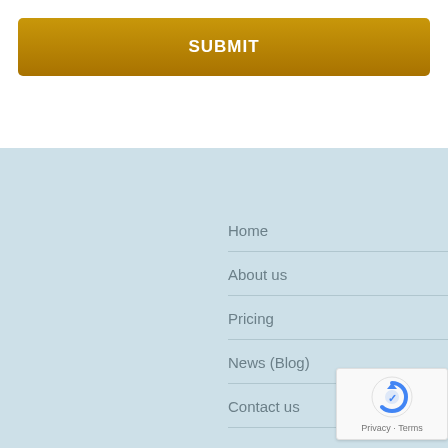SUBMIT
Home
About us
Pricing
News (Blog)
Contact us
[Figure (logo): reCAPTCHA badge with Privacy and Terms links]